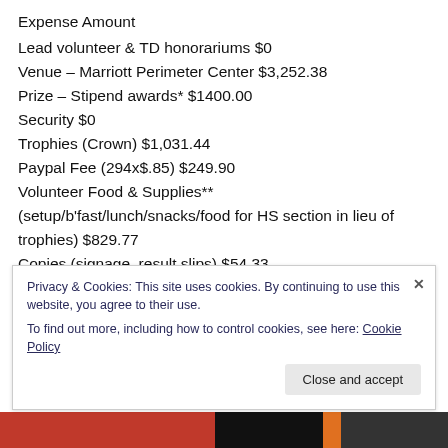Expense Amount
Lead volunteer & TD honorariums $0
Venue – Marriott Perimeter Center $3,252.38
Prize – Stipend awards* $1400.00
Security $0
Trophies (Crown) $1,031.44
Paypal Fee (294x$.85) $249.90
Volunteer Food & Supplies** (setup/b'fast/lunch/snacks/food for HS section in lieu of trophies) $829.77
Copies (signage, result slips) $54.33
Privacy & Cookies: This site uses cookies. By continuing to use this website, you agree to their use. To find out more, including how to control cookies, see here: Cookie Policy